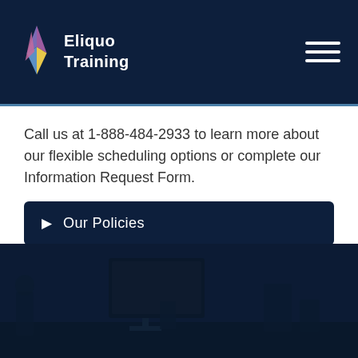Eliquo Training
Call us at 1-888-484-2933 to learn more about our flexible scheduling options or complete our Information Request Form.
Our Policies
[Figure (photo): Dark blue tinted photo of an office desk scene with a computer monitor, keyboard and office items in the background.]